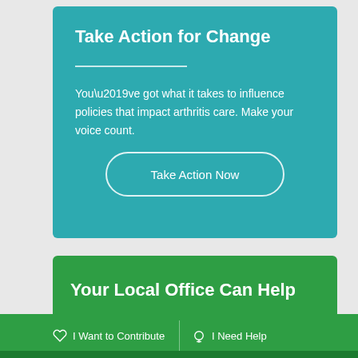Take Action for Change
You’ve got what it takes to influence policies that impact arthritis care. Make your voice count.
Take Action Now
Your Local Office Can Help
I Want to Contribute
I Need Help